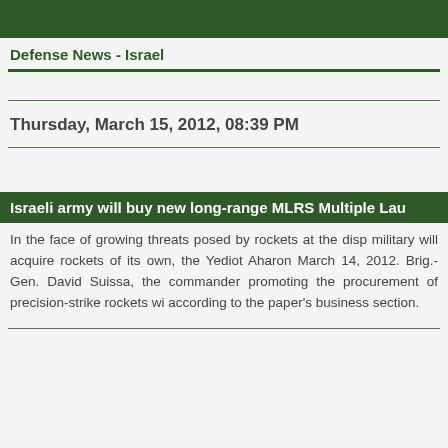Defense News - Israel
Thursday, March 15, 2012, 08:39 PM
Israeli army will buy new long-range MLRS Multiple Lau
In the face of growing threats posed by rockets at the disp military will acquire rockets of its own, the Yediot Aharon March 14, 2012. Brig.-Gen. David Suissa, the commander promoting the procurement of precision-strike rockets wi according to the paper's business section.